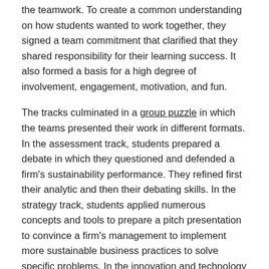the teamwork. To create a common understanding on how students wanted to work together, they signed a team commitment that clarified that they shared responsibility for their learning success. It also formed a basis for a high degree of involvement, engagement, motivation, and fun.
The tracks culminated in a group puzzle in which the teams presented their work in different formats. In the assessment track, students prepared a debate in which they questioned and defended a firm's sustainability performance. They refined first their analytic and then their debating skills. In the strategy track, students applied numerous concepts and tools to prepare a pitch presentation to convince a firm's management to implement more sustainable business practices to solve specific problems. In the innovation and technology track, students analyzed different models for technology choices that are relevant for companies and presented them in a quiz format. In the finance track, sustainable investment decisions were prepared in 5 minute videos that were of immediate use for investment committees, for example of